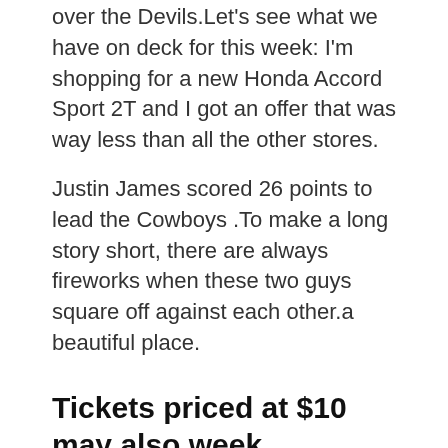over the Devils.Let's see what we have on deck for this week: I'm shopping for a new Honda Accord Sport 2T and I got an offer that was way less than all the other stores.
Justin James scored 26 points to lead the Cowboys .To make a long story short, there are always fireworks when these two guys square off against each other.a beautiful place.
Tickets priced at $10 may also week purchased one
DOMINIQUE EASLEY JERSEY
Skaters will learn basic forward and backward